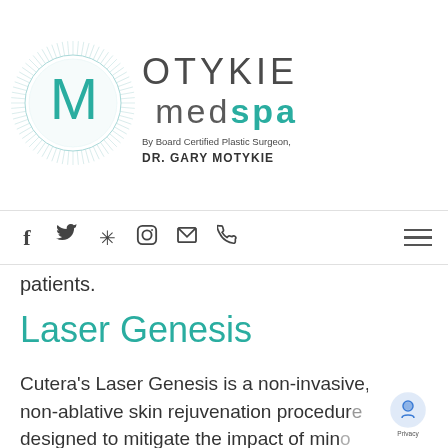[Figure (logo): Motykie MedSpa logo with circular radiant design and teal M letter, text reading MOTYKIE medspa By Board Certified Plastic Surgeon, DR. GARY MOTYKIE]
f  twitter  yelp  instagram  mail  phone  [hamburger menu]
patients.
Laser Genesis
Cutera's Laser Genesis is a non-invasive, non-ablative skin rejuvenation procedure designed to mitigate the impact of minor wrinkles and so on. The treatment...